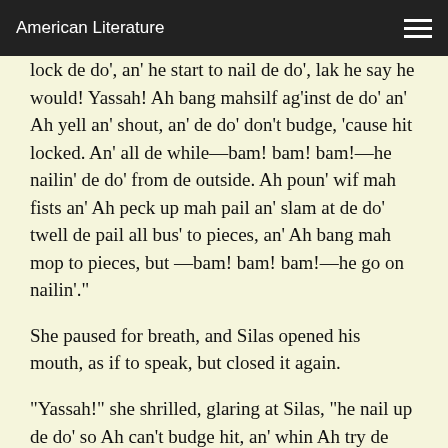American Literature
lock de do', an' he start to nail de do', lak he say he would! Yassah! Ah bang mahsilf ag'inst de do' an' Ah yell an' shout, an' de do' don't budge, 'cause hit locked. An' all de while—bam! bam! bam!—he nailin' de do' from de outside. Ah poun' wif mah fists an' Ah peck up mah pail an' slam at de do' twell de pail all bus' to pieces, an' Ah bang mah mop to pieces, but —bam! bam! bam!—he go on nailin'."
She paused for breath, and Silas opened his mouth, as if to speak, but closed it again.
“Yassah!” she shrilled, glaring at Silas, “he nail up de do' so Ah can't budge hit, an' whin Ah try de windows, dey nailed up too.”